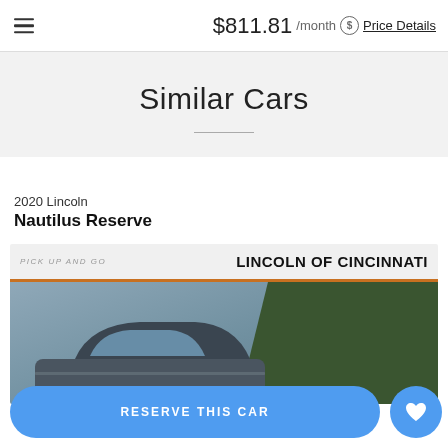$811.81 /month Price Details
Similar Cars
2020 Lincoln
Nautilus Reserve
[Figure (photo): Photo of a 2020 Lincoln Nautilus Reserve SUV at Lincoln of Cincinnati dealership, with a dealer banner reading 'PICK UP AND GO | LINCOLN OF CINCINNATI' with an orange stripe, and the vehicle shown in front of green hedges.]
RESERVE THIS CAR